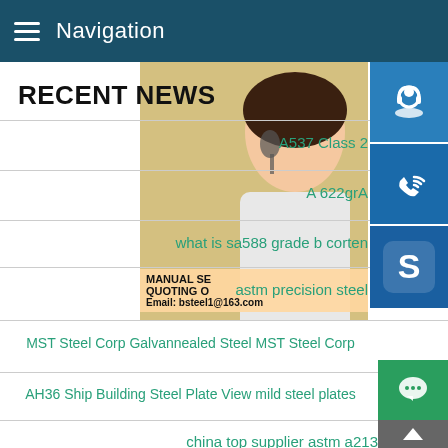Navigation
RECENT NEWS
A537 Class 2
A 622grA
what is sa588 grade b corten
astm precision steel
[Figure (photo): Customer service woman with headset smiling, with promotional overlay showing MANUAL SERVICE, QUOTING ORDER, Email: bsteel1@163.com, and blue sidebar icons for chat, phone/Skype services]
MST Steel Corp Galvannealed Steel MST Steel Corp
AH36 Ship Building Steel Plate View mild steel plates
china top supplier astm a213